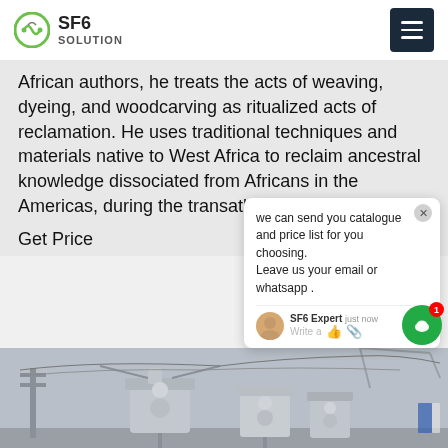SF6 SOLUTION
African authors, he treats the acts of weaving, dyeing, and woodcarving as ritualized acts of reclamation. He uses traditional techniques and materials native to West Africa to reclaim ancestral knowledge dissociated from Africans in the Americas, during the transatlantic sl...
Get Price
we can send you catalogue and price list for you choosing.
Leave us your email or whatsapp .
SF6 Expert    just now
Write a
[Figure (photo): Outdoor electrical substation equipment with large gray industrial transformers and circuit breakers under an overcast sky]